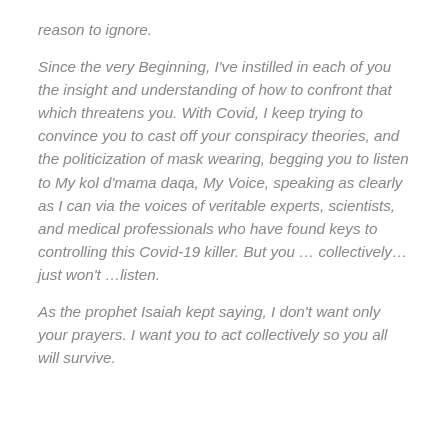reason to ignore.
Since the very Beginning, I've instilled in each of you the insight and understanding of how to confront that which threatens you. With Covid, I keep trying to convince you to cast off your conspiracy theories, and the politicization of mask wearing, begging you to listen to My kol d'mama daqa, My Voice, speaking as clearly as I can via the voices of veritable experts, scientists, and medical professionals who have found keys to controlling this Covid-19 killer. But you … collectively…just won't …listen.
As the prophet Isaiah kept saying, I don't want only your prayers. I want you to act collectively so you all will survive.